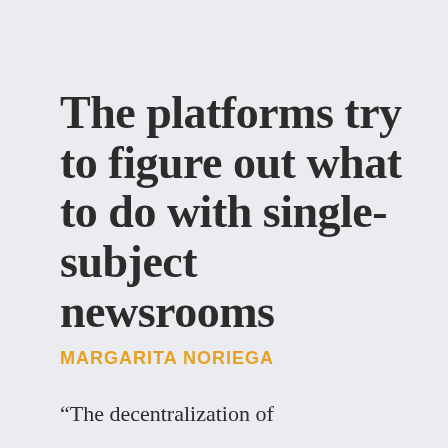The platforms try to figure out what to do with single-subject newsrooms
MARGARITA NORIEGA
“The decentralization of